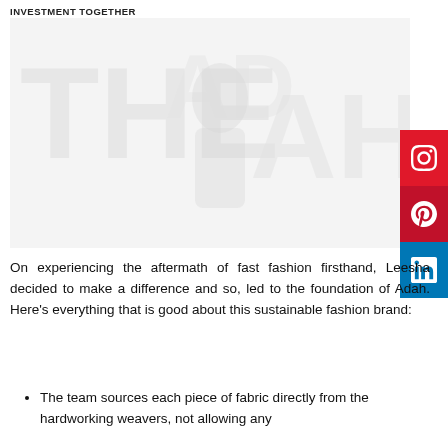INVESTMENT TOGETHER
[Figure (photo): Faded watermark-style large image with text overlay showing fashion-related imagery in light gray tones]
On experiencing the aftermath of fast fashion firsthand, Leesha decided to make a difference and so, led to the foundation of Adah. Here’s everything that is good about this sustainable fashion brand:
The team sources each piece of fabric directly from the hardworking weavers, not allowing any